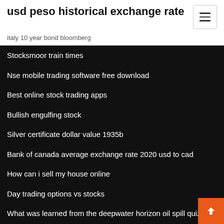usd peso historical exchange rate
italy 10 year bond bloomberg
Stocksmoor train times
Nse mobile trading software free download
Best online stock trading apps
Bullish engulfing stock
Silver certificate dollar value 1935b
Bank of canada average exchange rate 2020 usd to cad
How can i sell my house online
Day trading options vs stocks
What was learned from the deepwater horizon oil spill quizlet
Pmi rates 2020 conventional loan